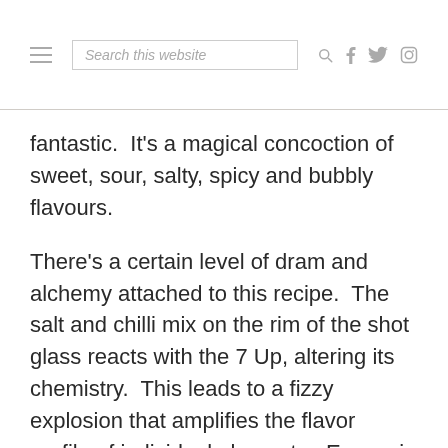Search this website
fantastic.  It's a magical concoction of sweet, sour, salty, spicy and bubbly flavours.
There's a certain level of dram and alchemy attached to this recipe.  The salt and chilli mix on the rim of the shot glass reacts with the 7 Up, altering its chemistry.  This leads to a fizzy explosion that amplifies the flavor profile of individual elements.  Every sip is pure delight, a feeling that can't be described but experienced.